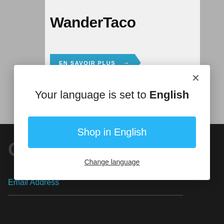WanderTaco
EN SAVOIR PLUS →
Your language is set to English
Shop in English
Change language
GET CONNECTED
Email Address